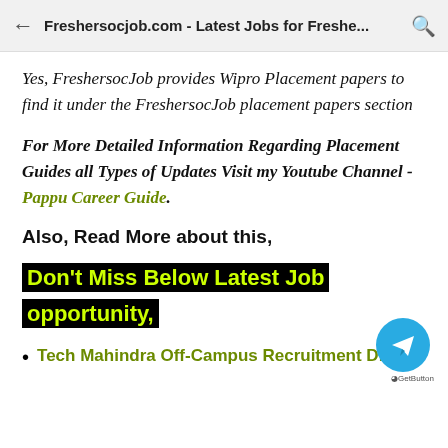Freshersocjob.com - Latest Jobs for Freshe...
Yes, FreshersocJob provides Wipro Placement papers to find it under the FreshersocJob placement papers section
For More Detailed Information Regarding Placement Guides all Types of Updates Visit my Youtube Channel - Pappu Career Guide.
Also, Read More about this,
Don't Miss Below Latest Job opportunity,
Tech Mahindra Off-Campus Recruitment Drive
[Figure (logo): Telegram messenger floating button (blue circle with paper plane icon) and GetButton branding]